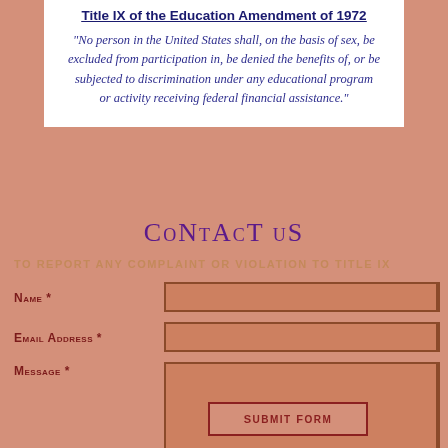Title IX of the Education Amendment of 1972
“No person in the United States shall, on the basis of sex, be excluded from participation in, be denied the benefits of, or be subjected to discrimination under any educational program or activity receiving federal financial assistance.”
CONTACT US
TO REPORT ANY COMPLAINT OR VIOLATION TO TITLE IX
NAME *
EMAIL ADDRESS *
MESSAGE *
SUBMIT FORM